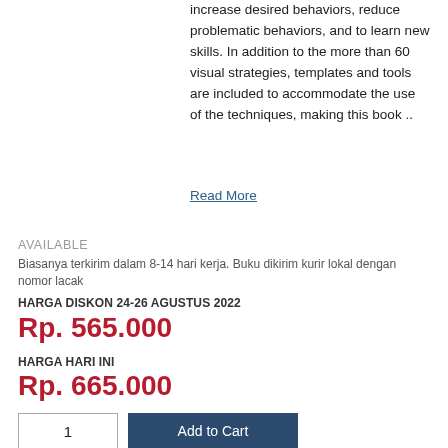increase desired behaviors, reduce problematic behaviors, and to learn new skills. In addition to the more than 60 visual strategies, templates and tools are included to accommodate the use of the techniques, making this book ..
Read More
AVAILABLE
Biasanya terkirim dalam 8-14 hari kerja. Buku dikirim kurir lokal dengan nomor lacak
HARGA DISKON 24-26 AGUSTUS 2022
Rp. 565.000
HARGA HARI INI
Rp. 665.000
1
Add to Cart
Add to My List